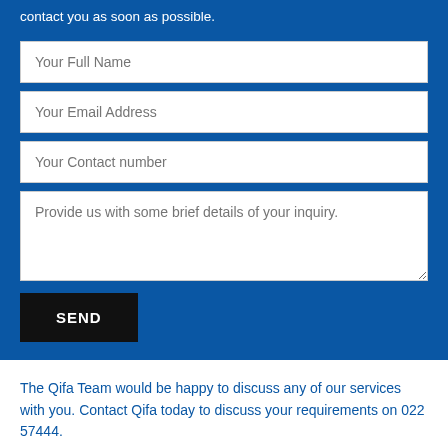contact you as soon as possible.
[Figure (other): Contact form with fields: Your Full Name, Your Email Address, Your Contact number, Provide us with some brief details of your inquiry, and a SEND button]
The Qifa Team would be happy to discuss any of our services with you. Contact Qifa today to discuss your requirements on 022 57444.